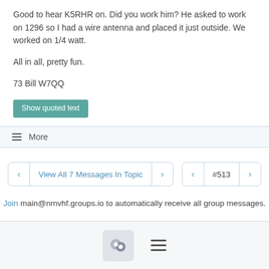Good to hear K5RHR on.  Did you work him?  He asked to work on 1296 so I had a wire antenna and placed it just outside.  We worked on 1/4 watt.

All in all, pretty fun.

73 Bill W7QQ
Show quoted text
≡ More
View All 7 Messages In Topic
#513
Join main@nmvhf.groups.io to automatically receive all group messages.